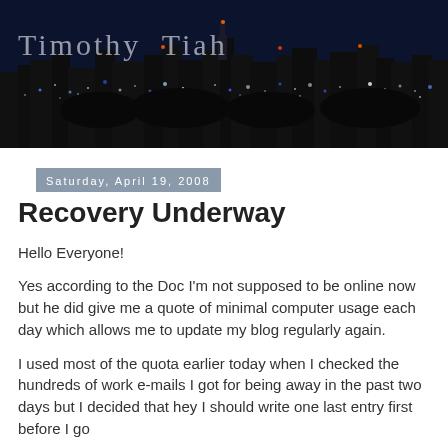[Figure (photo): Night cityscape banner showing city lights with 'Timothy Tiah' blog title text overlaid in light gray serif font]
Saturday, April 19, 2008
Recovery Underway
Hello Everyone!
Yes according to the Doc I'm not supposed to be online now but he did give me a quote of minimal computer usage each day which allows me to update my blog regularly again.
I used most of the quota earlier today when I checked the hundreds of work e-mails I got for being away in the past two days but I decided that hey I should write one last entry first before I go
I actually ended at...